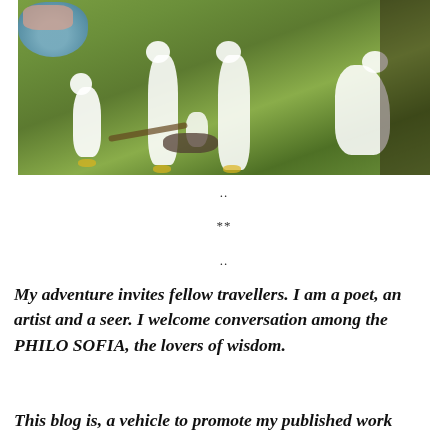[Figure (photo): Photograph of several white ducks/geese on green grass, with a blue bowl/basin visible on the left and a pan on the ground in the center]
..
**
..
My adventure invites fellow travellers.  I am a poet, an artist and a seer.  I welcome conversation among the PHILO SOFIA, the lovers of wisdom.
This blog is, a vehicle to promote my published work